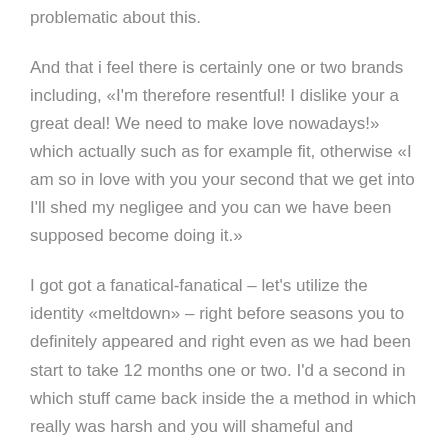problematic about this.
And that i feel there is certainly one or two brands including, «I'm therefore resentful! I dislike your a great deal! We need to make love nowadays!» which actually such as for example fit, otherwise «I am so in love with you your second that we get into I'll shed my negligee and you can we have been supposed become doing it.»
I got got a fanatical-fanatical – let's utilize the identity «meltdown» – right before seasons you to definitely appeared and right even as we had been start to take 12 months one or two. I'd a second in which stuff came back inside the a method in which really was harsh and you will shameful and